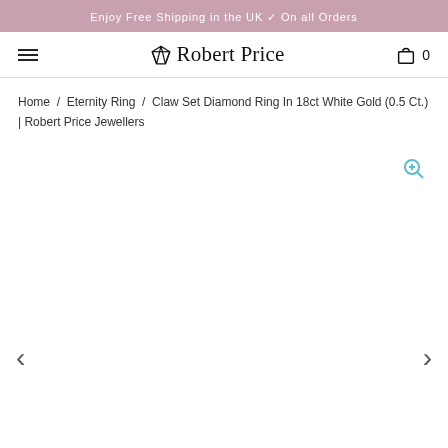Enjoy Free Shipping in the UK ✓ On all Orders
Robert Price
Home / Eternity Ring / Claw Set Diamond Ring In 18ct White Gold (0.5 Ct.) | Robert Price Jewellers
[Figure (photo): Product image area for a diamond eternity ring, shown as a large white/blank image region with a zoom icon and left/right navigation arrows]